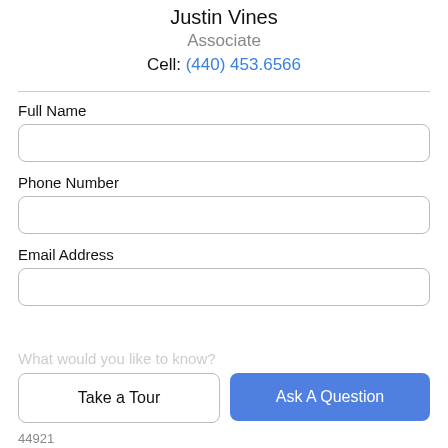Justin Vines
Associate
Cell: (440) 453.6566
Full Name
Phone Number
Email Address
What would you like to know?
Take a Tour
Ask A Question
44921